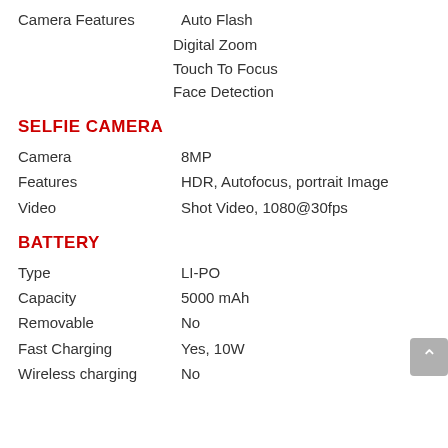Camera Features   Auto Flash
Digital Zoom
Touch To Focus
Face Detection
SELFIE CAMERA
Camera   8MP
Features   HDR, Autofocus, portrait Image
Video   Shot Video, 1080@30fps
BATTERY
Type   LI-PO
Capacity   5000 mAh
Removable   No
Fast Charging   Yes, 10W
Wireless charging   No